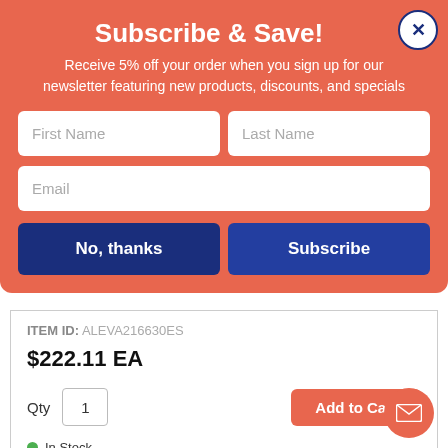Subscribe & Save!
Receive 5% off your order when you sign up for our newsletter featuring new products, discounts, and specials
First Name | Last Name | Email (form fields)
No, thanks | Subscribe (buttons)
ITEM ID: ALEVA216630ES
$222.11 EA
Qty 1  Add to Cart
In Stock
Alera Valencia Series Straight Front